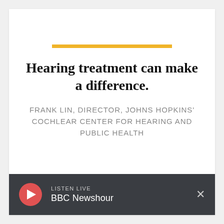[Figure (illustration): Yellow horizontal decorative bar above headline]
Hearing treatment can make a difference.
FRANK LIN, DIRECTOR, JOHNS HOPKINS' COCHLEAR CENTER FOR HEARING AND PUBLIC HEALTH
LISTEN LIVE
BBC Newshour